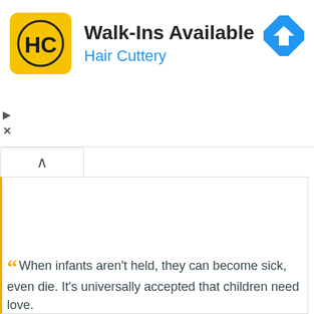[Figure (screenshot): Hair Cuttery advertisement banner with yellow HC logo, 'Walk-Ins Available' heading, 'Hair Cuttery' subtitle in blue, and a blue navigation/directions icon on the right. Small play and close icons on the left margin below the ad.]
[Figure (screenshot): Web page UI element: a tab with an up-arrow (caret) indicator and a content panel with an orange left border, mostly empty white space.]
"When infants aren't held, they can become sick, even die. It's universally accepted that children need love.